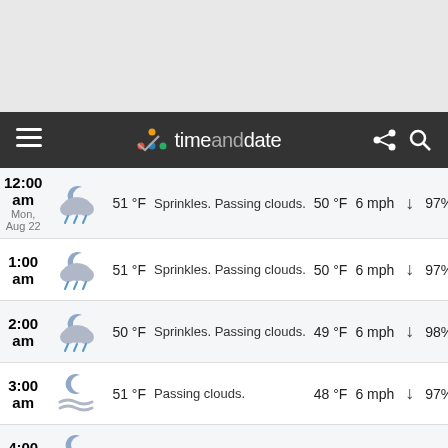timeanddate navigation bar
| Time | Icon | Temp | Description | Dew Point | Wind | Dir | Humidity |  |
| --- | --- | --- | --- | --- | --- | --- | --- | --- |
| 12:00 am Mon, Aug 22 |  | 51 °F | Sprinkles. Passing clouds. | 50 °F | 6 mph | ↓ | 97% |  |
| 1:00 am |  | 51 °F | Sprinkles. Passing clouds. | 50 °F | 6 mph | ↓ | 97% |  |
| 2:00 am |  | 50 °F | Sprinkles. Passing clouds. | 49 °F | 6 mph | ↓ | 98% |  |
| 3:00 am |  | 51 °F | Passing clouds. | 48 °F | 6 mph | ↓ | 97% |  |
| 4:00 am |  | 51 °F | Scattered clouds. | 48 °F | 6 mph | ↙ | 95% |  |
| 5:00 am |  | 50 °F | Scattered | 47 °F | 6 mph |  | 95% |  |